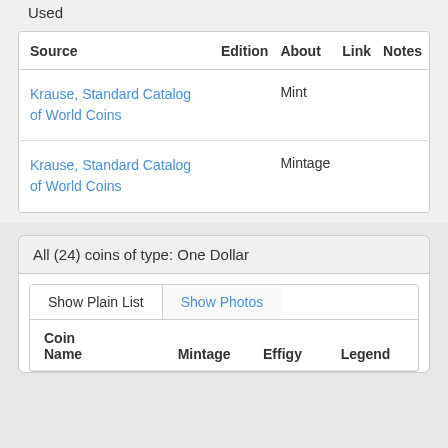Used
| Source | Edition | About | Link | Notes |
| --- | --- | --- | --- | --- |
| Krause, Standard Catalog of World Coins |  | Mint |  |  |
| Krause, Standard Catalog of World Coins |  | Mintage |  |  |
All (24) coins of type: One Dollar
Show Plain List	Show Photos
| Coin Name | Mintage | Effigy | Legend |
| --- | --- | --- | --- |